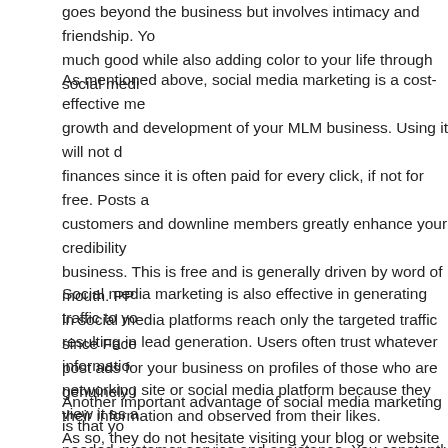goes beyond the business but involves intimacy and friendship. You do much good while also adding color to your life through social media.
As mentioned above, social media marketing is a cost-effective means for growth and development of your MLM business. Using it will not drain your finances since it is often paid for every click, if not for free. Posts and customers and downline members greatly enhance your credibility in the business. This is free and is generally driven by word of mouth. PPC ads in social media platforms reach only the targeted traffic since Facebook will post ads for your business on profiles of those who are genuinely interested their information and observed from their likes.
Social media marketing is also effective in generating traffic to your site resulting in lead generation. Users often trust whatever information is in a networking site or social media platform because they view it as authentic. As so, they do not hesitate visiting your blog or website and will trust a bit more since you are backed by the social media platform.
Another important advantage of social media marketing is that you provide needed customer service and assistance. You constantly have communication with clientele and can answer the question of inquisitive leads. You are